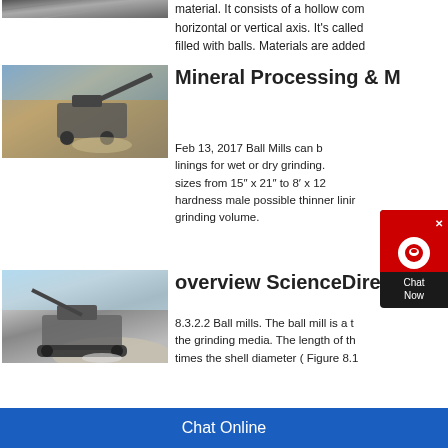[Figure (photo): Top partial image of industrial mining/crushing equipment]
material. It consists of a hollow com horizontal or vertical axis. It's called filled with balls. Materials are added
[Figure (photo): Photo of a quarry with a mobile crushing machine processing stone]
Mineral Processing & M
Feb 13, 2017 Ball Mills can be linings for wet or dry grinding. sizes from 15" x 21" to 8' x 12 hardness male possible thinner lini grinding volume.
[Figure (photo): Photo of a tracked mobile crusher working on a stone pile]
overview ScienceDirect
8.3.2.2 Ball mills. The ball mill is a t the grinding media. The length of th times the shell diameter ( Figure 8.1
[Figure (infographic): Chat Now support widget overlay]
Chat Online